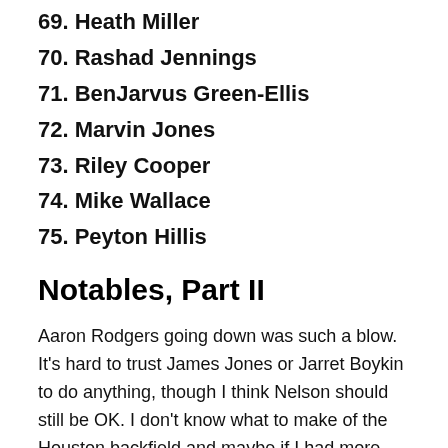69. Heath Miller
70. Rashad Jennings
71. BenJarvus Green-Ellis
72. Marvin Jones
73. Riley Cooper
74. Mike Wallace
75. Peyton Hillis
Notables, Part II
Aaron Rodgers going down was such a blow. It's hard to trust James Jones or Jarret Boykin to do anything, though I think Nelson should still be OK. I don't know what to make of the Houston backfield and maybe if I had more clarity Ben Tate would be higher. I still think Denarius Moore needs more fantasy-love, so I will continue to give it. I think sooner or later the Saints will figure out they are a better team when Sproles is a big